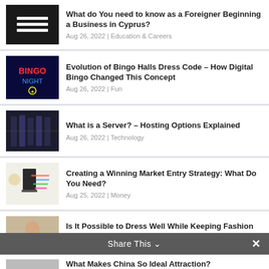What do You need to know as a Foreigner Beginning a Business in Cyprus? | Aug 26, 2022 | Education & Careers
Evolution of Bingo Halls Dress Code – How Digital Bingo Changed This Concept | Aug 26, 2022 | Fun
What is a Server? – Hosting Options Explained | Aug 26, 2022 | Technology
Creating a Winning Market Entry Strategy: What Do You Need? | Aug 25, 2022 | Money
Is It Possible to Dress Well While Keeping Fashion Minimal? | Aug 25, 2022 | Style Guide
Share This ∨  ✕